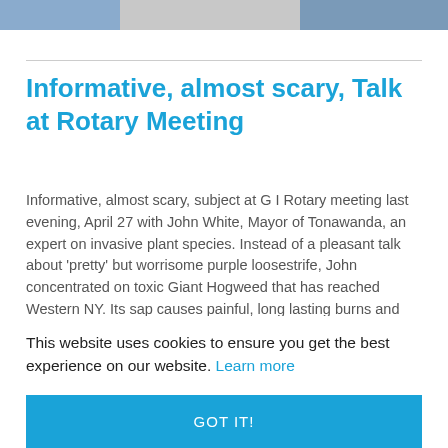[Figure (photo): Partial photo strip at top of page showing cropped images]
Informative, almost scary, Talk at Rotary Meeting
Informative, almost scary, subject at G I Rotary meeting last evening, April 27 with John White, Mayor of Tonawanda, an expert on invasive plant species. Instead of a pleasant talk about ‘pretty’ but worrisome purple loosestrife, John concentrated on toxic Giant Hogweed that has reached Western NY. Its sap causes painful, long lasting burns and the...
This website uses cookies to ensure you get the best experience on our website. Learn more
GOT IT!